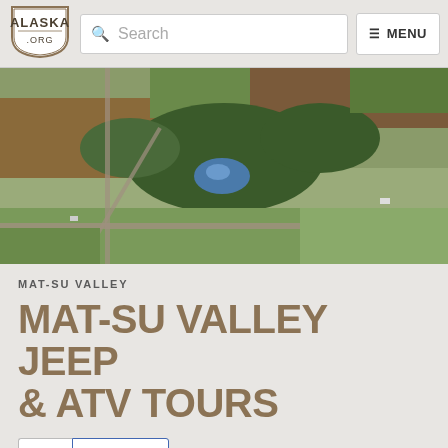[Figure (logo): Alaska.org shield logo with text ALASKA .ORG]
[Figure (screenshot): Search bar with magnifying glass icon and placeholder text 'Search']
[Figure (screenshot): Menu button with hamburger icon and text MENU]
[Figure (photo): Aerial photograph of agricultural farmland with fields, trees, and a small lake/pond visible from above, autumn colors]
MAT-SU VALLEY
MAT-SU VALLEY JEEP & ATV TOURS
[Figure (screenshot): Social share buttons: email envelope icon and Facebook f SHARE button]